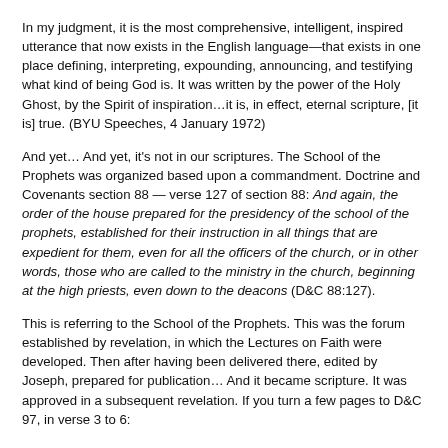In my judgment, it is the most comprehensive, intelligent, inspired utterance that now exists in the English language—that exists in one place defining, interpreting, expounding, announcing, and testifying what kind of being God is. It was written by the power of the Holy Ghost, by the Spirit of inspiration…it is, in effect, eternal scripture, [it is] true. (BYU Speeches, 4 January 1972)
And yet… And yet, it's not in our scriptures. The School of the Prophets was organized based upon a commandment. Doctrine and Covenants section 88 — verse 127 of section 88: And again, the order of the house prepared for the presidency of the school of the prophets, established for their instruction in all things that are expedient for them, even for all the officers of the church, or in other words, those who are called to the ministry in the church, beginning at the high priests, even down to the deacons (D&C 88:127).
This is referring to the School of the Prophets. This was the forum established by revelation, in which the Lectures on Faith were developed. Then after having been delivered there, edited by Joseph, prepared for publication… And it became scripture. It was approved in a subsequent revelation. If you turn a few pages to D&C 97, in verse 3 to 6:
Behold, I say unto you, concerning the school in Zion, I, the Lord, am well pleased that there should be a school in Zion, and also with my servant Parley P. Pratt, for he abideth in me. And inasmuch as he continueth to abide in me he shall continue to preside over the school in the land of Zion until I shall give unto him other commandments… I will bless him with a multiplicity of